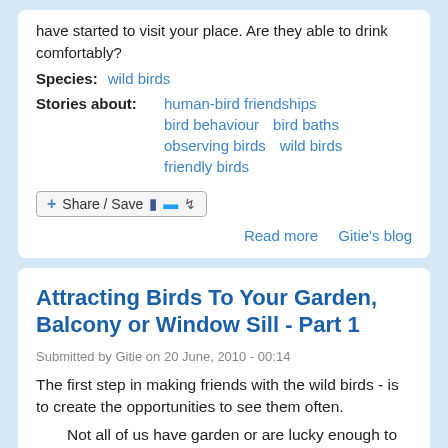have started to visit your place. Are they able to drink comfortably?
Species:  wild birds
Stories about:  human-bird friendships  bird behaviour  bird baths  observing birds  wild birds  friendly birds
[Figure (other): Share / Save button with Facebook, Twitter, and share icons]
Read more    Gitie's blog
Attracting Birds To Your Garden, Balcony or Window Sill - Part 1
Submitted by Gitie on 20 June, 2010 - 00:14
The first step in making friends with the wild birds - is to create the opportunities to see them often.
Not all of us have garden or are lucky enough to live at the edge of a rainforest or a green belt.  Fortunately, birds